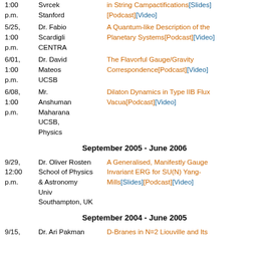1:00 p.m. | Svrcek Stanford | in String Campactifications[Slides][Podcast][Video]
5/25, 1:00 p.m. | Dr. Fabio Scardigli CENTRA | A Quantum-like Description of the Planetary Systems[Podcast][Video]
6/01, 1:00 p.m. | Dr. David Mateos UCSB | The Flavorful Gauge/Gravity Correspondence[Podcast][Video]
6/08, 1:00 p.m. | Mr. Anshuman Maharana UCSB, Physics | Dilaton Dynamics in Type IIB Flux Vacua[Podcast][Video]
September 2005 - June 2006
9/29, 12:00 p.m. | Dr. Oliver Rosten School of Physics & Astronomy Univ Southampton, UK | A Generalised, Manifestly Gauge Invariant ERG for SU(N) Yang-Mills[Slides][Podcast][Video]
September 2004 - June 2005
9/15, | Dr. Ari Pakman | D-Branes in N=2 Liouville and Its